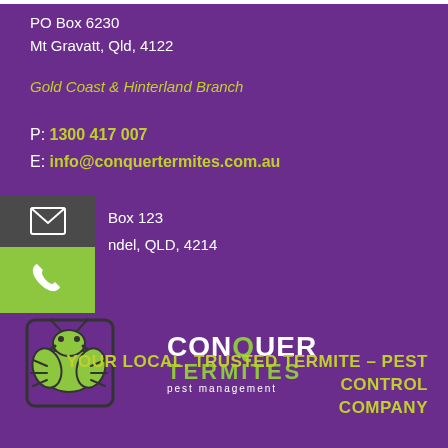PO Box 6230
Mt Gravatt, Qld, 4122
Gold Coast & Hinterland Branch
P: 1300 417 007
E: info@conquertermites.com.au
[Figure (logo): Mail envelope icon on dark background]
[Figure (logo): Phone handset icon on green background]
Box 123
ndel, QLD, 4214
[Figure (logo): Conquer Termites pest management logo with termite bug illustration]
YOUR LOCAL, TRUSTED TERMITE – PEST CONTROL COMPANY